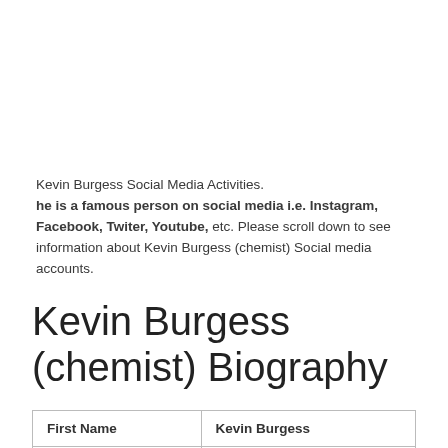Kevin Burgess Social Media Activities. he is a famous person on social media i.e. Instagram, Facebook, Twiter, Youtube, etc. Please scroll down to see information about Kevin Burgess (chemist) Social media accounts.
Kevin Burgess (chemist) Biography
| First Name | Kevin Burgess |
| Name | Kevin Burgess (chemist) |